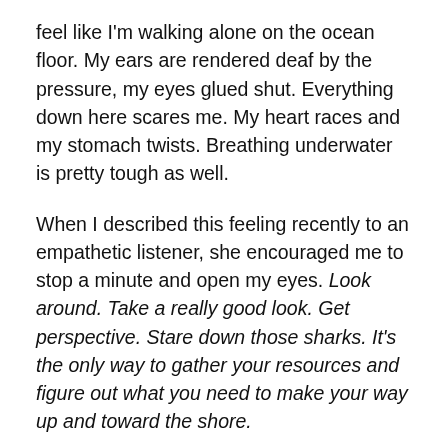feel like I'm walking alone on the ocean floor. My ears are rendered deaf by the pressure, my eyes glued shut. Everything down here scares me. My heart races and my stomach twists. Breathing underwater is pretty tough as well.
When I described this feeling recently to an empathetic listener, she encouraged me to stop a minute and open my eyes. Look around. Take a really good look. Get perspective. Stare down those sharks. It's the only way to gather your resources and figure out what you need to make your way up and toward the shore.
Easier said than done, but I'm trying. I'm afraid of this water and its dark mysteries. Yet, I know that opening my eyes is the only answer. If there's light beckoning me to the surface, I've got to open my eyes to find it. Besides, I